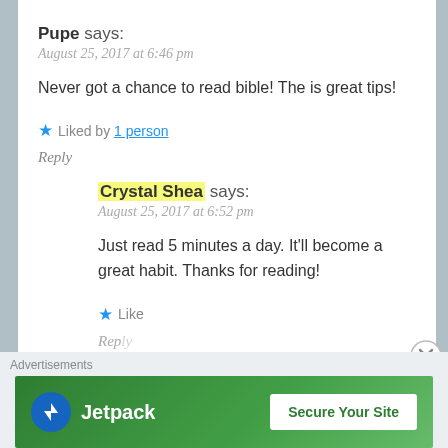Pupe says:
August 25, 2017 at 6:46 pm
Never got a chance to read bible! The is great tips!
★ Liked by 1 person
Reply
Crystal Shea says:
August 25, 2017 at 6:52 pm
Just read 5 minutes a day. It'll become a great habit. Thanks for reading!
★ Like
Reply
Advertisements
[Figure (other): Jetpack advertisement banner with 'Secure Your Site' button]